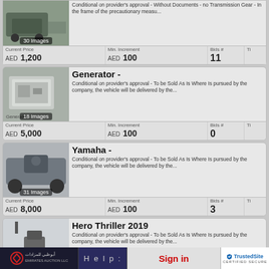[Figure (screenshot): Auction listing page showing vehicles and equipment for sale with images, prices in AED, minimum increments, and bid counts]
Conditional on provider's approval - Without Documents - no Transmission Gear - In the frame of the precautionary measu...
| Current Price | Min. Increment | Bids # | Ti... |
| --- | --- | --- | --- |
| AED 1,200 | AED 100 | 11 |  |
Generator -
Conditional on provider's approval - To be Sold As Is Where Is pursued by the company, the vehicle will be delivered by the...
| Current Price | Min. Increment | Bids # | Ti... |
| --- | --- | --- | --- |
| AED 5,000 | AED 100 | 0 |  |
Yamaha -
Conditional on provider's approval - To be Sold As Is Where Is pursued by the company, the vehicle will be delivered by the...
| Current Price | Min. Increment | Bids # | Ti... |
| --- | --- | --- | --- |
| AED 8,000 | AED 100 | 3 |  |
Hero Thriller 2019
Conditional on provider's approval - To be Sold As Is Where Is pursued by the company, the vehicle will be delivered by the...
| Current Price | Min. Increment | Bids # | Ti... |
| --- | --- | --- | --- |
| AED 1,800 | AED 100 | 13 |  |
Bedford 1987
Conditional on provider's approval - To be...
Help:   Sign in   TrustedSite CERTIFIED SECURE